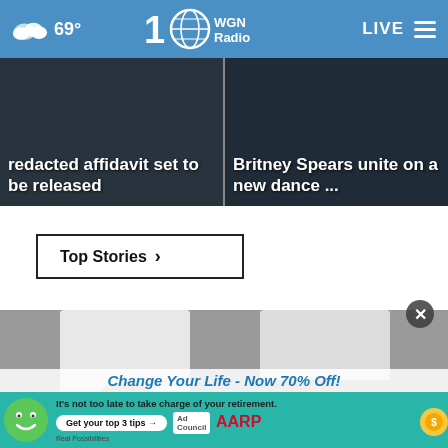69° WGN Radio 100 LIVE
redacted affidavit set to be released
Britney Spears unite on a new dance ...
Top Stories ›
[Figure (photo): Close-up photo of a person's feet wearing white slip-on sneakers with decorative perforations and a tan/gold trim sole, on a gray surface. Person wearing white cuffed pants.]
It's not too late to take charge of your retirement. Get your top 3 tips →
Change Your Life - Now 70% Off!